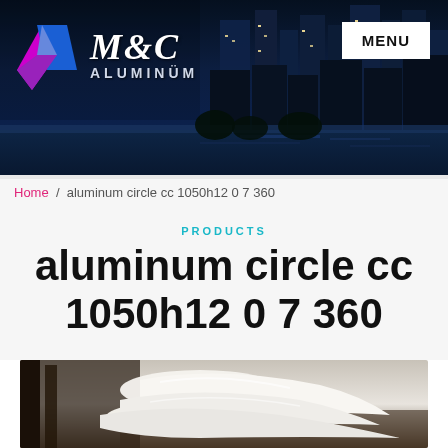[Figure (photo): M&C Aluminum company website header banner showing a night city skyline (Singapore waterfront) with company logo (colorful diamond shape and M&C Aluminum text) on the left and a MENU button on the right]
Home / aluminum circle cc 1050h12 0 7 360
PRODUCTS
aluminum circle cc 1050h12 0 7 360
[Figure (photo): Close-up photo of aluminum circle sheets/discs, white metallic material with smooth surface, industrial manufacturing setting]